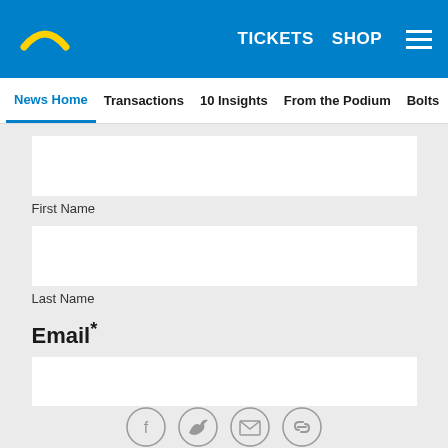[Figure (screenshot): San Diego Chargers logo - yellow lightning bolt arc on blue background]
TICKETS  SHOP  ☰
News Home  Transactions  10 Insights  From the Podium  Bolts
First Name
Last Name
Email *
Zip Code *
[Figure (infographic): Social share icons: Facebook, Twitter, Email, Link]